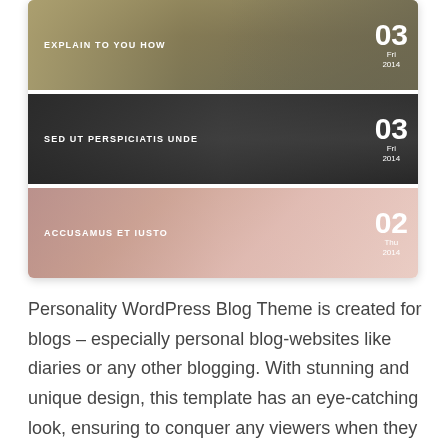[Figure (screenshot): Screenshot of a WordPress blog theme showing three blog post preview rows. Row 1: 'EXPLAIN TO YOU HOW' with date badge 03 Fri 2014. Row 2: 'SED UT PERSPICIATIS UNDE' with date badge 03 Fri 2014. Row 3: 'ACCUSAMUS ET IUSTO' with date badge 02 Thu 2014.]
Personality WordPress Blog Theme is created for blogs – especially personal blog-websites like diaries or any other blogging. With stunning and unique design, this template has an eye-catching look, ensuring to conquer any viewers when they visit your site.